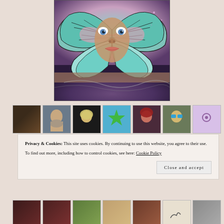[Figure (photo): Street art / mural of a woman's face with colorful butterfly wings overlaid, featuring teal, pink, and purple tones, painted on a wall.]
[Figure (photo): Row of seven social media avatar thumbnails showing various people and icons.]
Privacy & Cookies: This site uses cookies. By continuing to use this website, you agree to their use.
To find out more, including how to control cookies, see here: Cookie Policy
Close and accept
[Figure (photo): Second row of social media avatar thumbnails partially visible at bottom of page.]